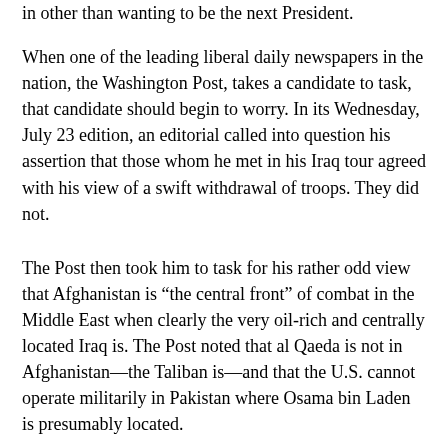in other than wanting to be the next President.
When one of the leading liberal daily newspapers in the nation, the Washington Post, takes a candidate to task, that candidate should begin to worry. In its Wednesday, July 23 edition, an editorial called into question his assertion that those whom he met in his Iraq tour agreed with his view of a swift withdrawal of troops. They did not.
The Post then took him to task for his rather odd view that Afghanistan is “the central front” of combat in the Middle East when clearly the very oil-rich and centrally located Iraq is. The Post noted that al Qaeda is not in Afghanistan—the Taliban is—and that the U.S. cannot operate militarily in Pakistan where Osama bin Laden is presumably located.
Visiting a whole bunch of nations in a week’s time doesn’t quite strike me as “experience” in foreign affairs. I have a cousin who has traveled all over the world and can tell you what shots to take before going to Africa or India, but I don’t ask him for an opinion on how to resolve long-standing, often intransigent international issue.